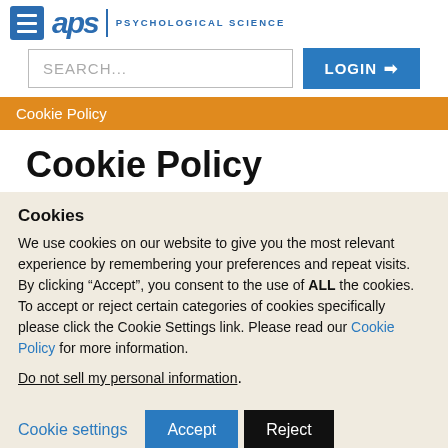APS | PSYCHOLOGICAL SCIENCE
SEARCH...
LOGIN
Cookie Policy
Cookie Policy
Cookies
We use cookies on our website to give you the most relevant experience by remembering your preferences and repeat visits. By clicking “Accept”, you consent to the use of ALL the cookies. To accept or reject certain categories of cookies specifically please click the Cookie Settings link. Please read our Cookie Policy for more information.
Do not sell my personal information.
Cookie settings  Accept  Reject